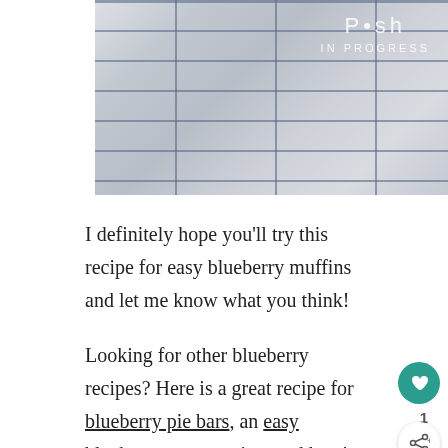[Figure (photo): Photo of folded white linen/cloth items with blue stripe accents, with a 'Posh in Progress' logo watermark in the top right corner.]
I definitely hope you'll try this recipe for easy blueberry muffins and let me know what you think!
Looking for other blueberry recipes? Here is a great recipe for blueberry pie bars, an easy blueberry syrup recipe, and here's one for keto blueberry cream cheese crumble